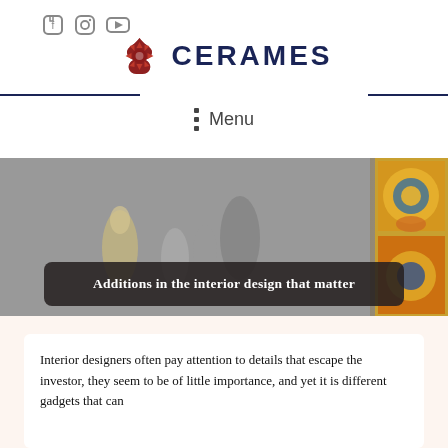[Figure (logo): Cerames logo with stylized red flower/mandala icon and 'CERAMES' text in dark navy blue]
[Figure (infographic): Social media icons: Facebook, Instagram, YouTube in gray]
Menu
[Figure (photo): Photo of interior design objects including vases and decorative items with a colorful patterned tile visible on right side]
Additions in the interior design that matter
Interior designers often pay attention to details that escape the investor, they seem to be of little importance, and yet it is different gadgets that can